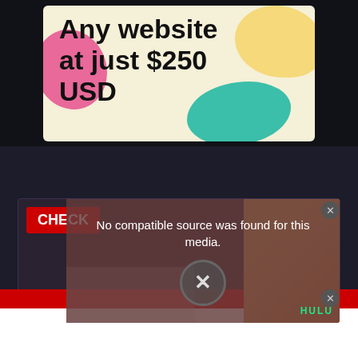[Figure (illustration): Advertisement banner with text 'Any website at just $250 USD' on a cream/yellow background with colorful blobs (pink, yellow, teal) decorating the corners]
[Figure (screenshot): Video player area showing a 'No compatible source was found for this media.' error overlay with an X button to close, partially revealing a Hulu advertisement with a cartoon character wearing sunglasses. A red CHECK badge is visible in the top left. A small comic/diagram strip is partially visible at the bottom.]